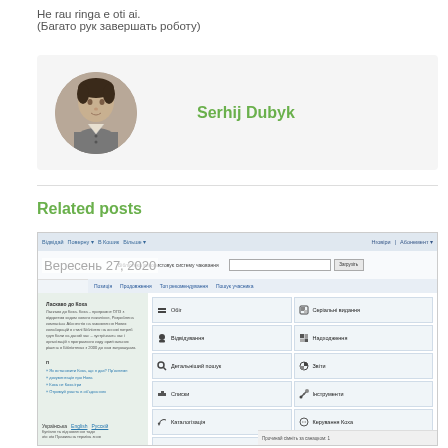He rau ringa e oti ai.
(Багато рук завершать роботу)
[Figure (photo): Circular profile photo of Serhij Dubyk with grey background author card]
Serhij Dubyk
Related posts
[Figure (screenshot): Screenshot of Koha ILS library system interface in Ukrainian language showing navigation menu with options like Обіг, Відвідування, Детальніший пошук, Списки, Каталогізація, Авторитетні джерела, Серіальні видання, Надходження, Звіти, Інструменти, Керування Коха, Про АВІС Коха]
Вересень 27, 2020